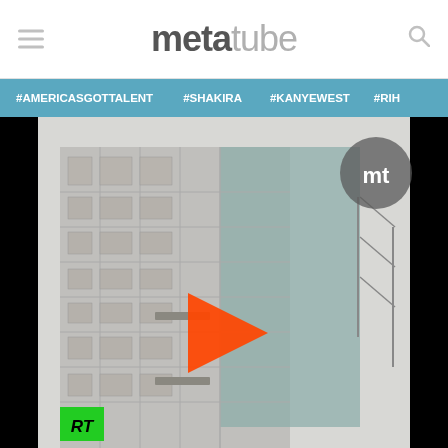metatube
#AMERICASGOTTALENT  #SHAKIRA  #KANYEWEST  #RIH
[Figure (screenshot): Video thumbnail of a tall building photographed at an angle, with a red play button triangle in the center, an 'mt' watermark circle in the top right, and a green 'RT' badge in the bottom left. The image has black bars on the sides.]